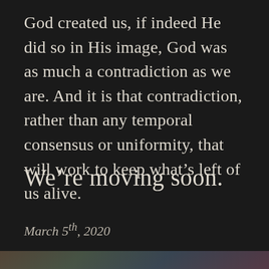God created us, if indeed He did so in His image, God was as much a contradiction as we are. And it is that contradiction, rather than any temporal consensus or uniformity, that will work to keep what's left of us alive.
We're moving soon.
March 5th, 2020
[Figure (photo): A partial image strip visible at the bottom of the page, appearing to show a photograph with warm tones]